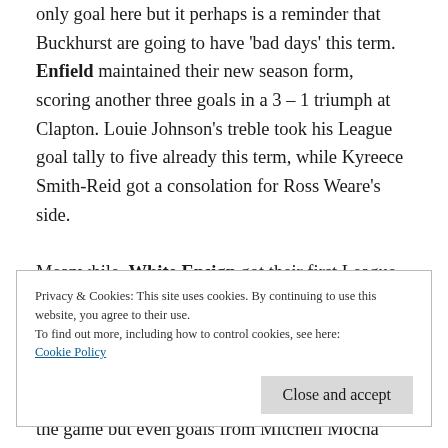only goal here but it perhaps is a reminder that Buckhurst are going to have 'bad days' this term. Enfield maintained their new season form, scoring another three goals in a 3 – 1 triumph at Clapton. Louie Johnson's treble took his League goal tally to five already this term, while Kyreece Smith-Reid got a consolation for Ross Weare's side.

Meanwhile, White Ensign got their first League win in some style with a nerve-jangling 5 – 4
Privacy & Cookies: This site uses cookies. By continuing to use this website, you agree to their use.
To find out more, including how to control cookies, see here:
Cookie Policy
the game but even goals from Mitchell Mocha